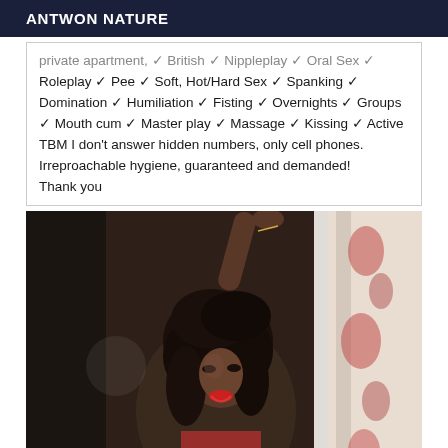ANTWON NATURE
private apartment, ✓ British ✓ Nippleplay ✓ Oral Sex ✓ Roleplay ✓ Pee ✓ Soft, Hot/Hard Sex ✓ Spanking ✓ Domination ✓ Humiliation ✓ Fisting ✓ Overnights ✓ Groups ✓ Mouth cum ✓ Master play ✓ Massage ✓ Kissing ✓ Active TBM I don't answer hidden numbers, only cell phones. Irreproachable hygiene, guaranteed and demanded! Thank you
[Figure (photo): Woman with dark curly hair wearing red, posing in a doorway with decorative wallpaper visible on the right side.]